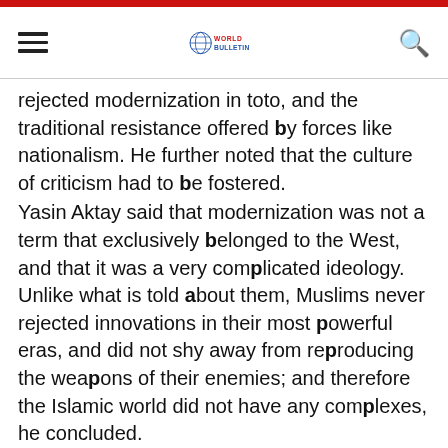World Bulletin
rejected modernization in toto, and the traditional resistance offered by forces like nationalism. He further noted that the culture of criticism had to be fostered.
Yasin Aktay said that modernization was not a term that exclusively belonged to the West, and that it was a very complicated ideology. Unlike what is told about them, Muslims never rejected innovations in their most powerful eras, and did not shy away from reproducing the weapons of their enemies; and therefore the Islamic world did not have any complexes, he concluded.
Ali Bulaç, on the other hand, said that the Islamic world had been imitating the West for over two centuries but was still just "marking time." The